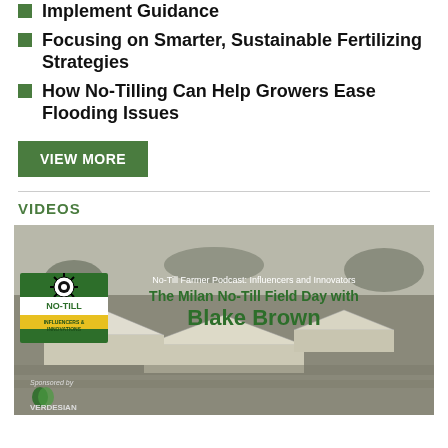Implement Guidance
Focusing on Smarter, Sustainable Fertilizing Strategies
How No-Tilling Can Help Growers Ease Flooding Issues
VIEW MORE
VIDEOS
[Figure (photo): No-Till Farmer Podcast: Influencers and Innovators - The Milan No-Till Field Day with Blake Brown. Sponsored by Verdesian. Aerial black-and-white photo of a farm field day event with tents and parked vehicles.]